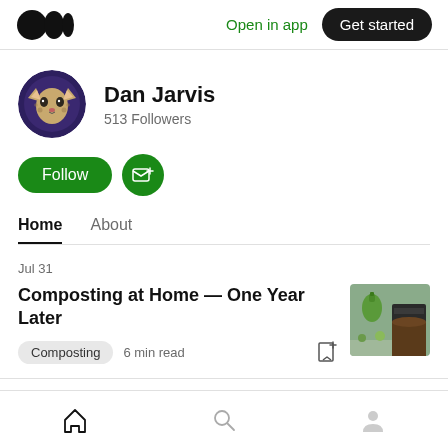Open in app  Get started
[Figure (photo): User avatar: illustrated leopard/cat face in dark purple/blue cosmic style, circular crop]
Dan Jarvis
513 Followers
[Figure (other): Follow button (green pill) and Subscribe/email button (green circle with envelope+plus icon)]
Home
About
Jul 31
Composting at Home — One Year Later
Composting  6 min read
[Figure (photo): Thumbnail image of composting setup with green bottle and dark bin/soil]